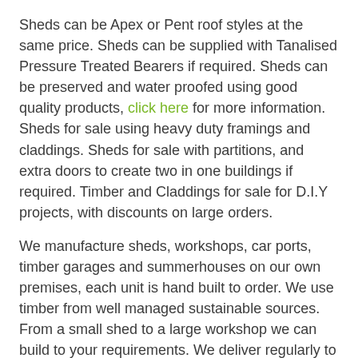Sheds can be Apex or Pent roof styles at the same price. Sheds can be supplied with Tanalised Pressure Treated Bearers if required. Sheds can be preserved and water proofed using good quality products, click here for more information. Sheds for sale using heavy duty framings and claddings. Sheds for sale with partitions, and extra doors to create two in one buildings if required. Timber and Claddings for sale for D.I.Y projects, with discounts on large orders.
We manufacture sheds, workshops, car ports, timber garages and summerhouses on our own premises, each unit is hand built to order. We use timber from well managed sustainable sources. From a small shed to a large workshop we can build to your requirements. We deliver regularly to parts of Sunningdale and have been offering a reliable service for many years. Our combination buildings offer a variety of uses and can be modified to suit your requirements i.e. office, gym